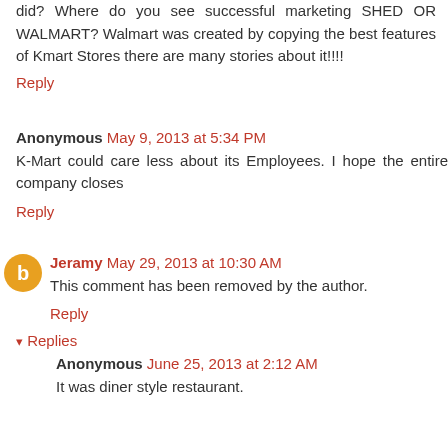did? Where do you see successful marketing SHED OR WALMART? Walmart was created by copying the best features of Kmart Stores there are many stories about it!!!!
Reply
Anonymous May 9, 2013 at 5:34 PM
K-Mart could care less about its Employees. I hope the entire company closes
Reply
Jeramy May 29, 2013 at 10:30 AM
This comment has been removed by the author.
Reply
Replies
Anonymous June 25, 2013 at 2:12 AM
It was diner style restaurant.